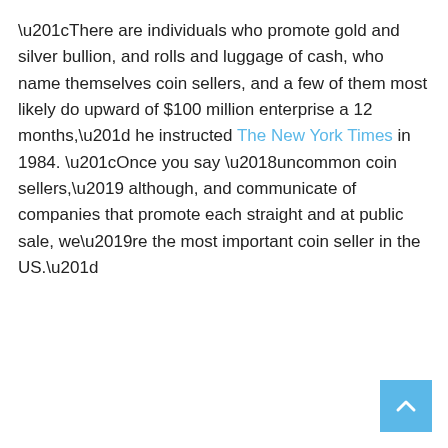“There are individuals who promote gold and silver bullion, and rolls and luggage of cash, who name themselves coin sellers, and a few of them most likely do upward of $100 million enterprise a 12 months,” he instructed The New York Times in 1984. “Once you say ‘uncommon coin sellers,’ although, and communicate of companies that promote each straight and at public sale, we’re the most important coin seller in the US.”